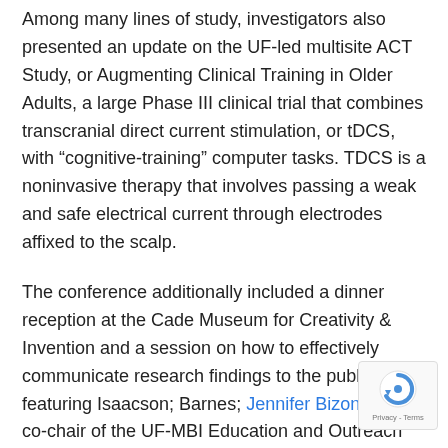Among many lines of study, investigators also presented an update on the UF-led multisite ACT Study, or Augmenting Clinical Training in Older Adults, a large Phase III clinical trial that combines transcranial direct current stimulation, or tDCS, with “cognitive-training” computer tasks. TDCS is a noninvasive therapy that involves passing a weak and safe electrical current through electrodes affixed to the scalp.
The conference additionally included a dinner reception at the Cade Museum for Creativity & Invention and a session on how to effectively communicate research findings to the public, featuring Isaacson; Barnes; Jennifer Bizon, Ph.D., co-chair of the UF-MBI Education and Outreach Committee; Lynne Anderson, senior health and medical editor at The Conversation, a nonprofit that publishes essays written by academics for the lay audience and draws worldwide